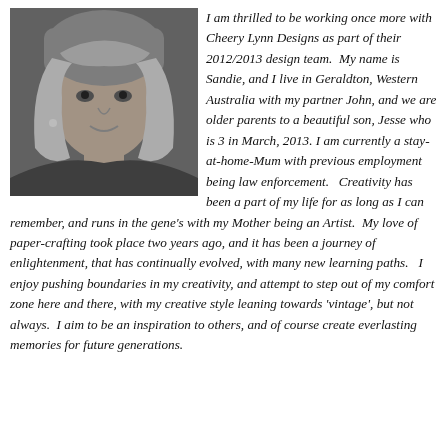[Figure (photo): Black and white portrait photo of a blonde woman looking at the camera]
I am thrilled to be working once more with Cheery Lynn Designs as part of their 2012/2013 design team.  My name is Sandie, and I live in Geraldton, Western Australia with my partner John, and we are older parents to a beautiful son, Jesse who is 3 in March, 2013. I am currently a stay-at-home-Mum with previous employment being law enforcement.   Creativity has been a part of my life for as long as I can remember, and runs in the gene's with my Mother being an Artist.  My love of paper-crafting took place two years ago, and it has been a journey of enlightenment, that has continually evolved, with many new learning paths.   I enjoy pushing boundaries in my creativity, and attempt to step out of my comfort zone here and there, with my creative style leaning towards 'vintage', but not always.  I aim to be an inspiration to others, and of course create everlasting memories for future generations.